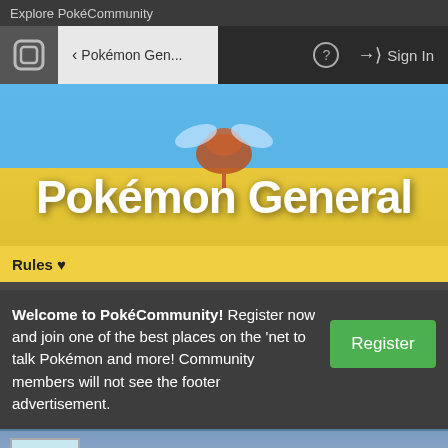Explore PokéCommunity
[Figure (screenshot): Navigation bar with PokéCommunity logo, back button showing 'Pokémon Gen...', help icon, and Sign In button]
[Figure (illustration): Pokémon General forum banner with sky blue and yellow background, Beedrill Pokémon illustration, large white text 'Pokémon General']
Rules ♥
Welcome to PokéCommunity! Register now and join one of the best places on the 'net to talk Pokémon and more! Community members will not see the footer advertisement.
[Figure (screenshot): Bottom preview card showing a Pokémon thumbnail image and text 'What Pokémon are you? (Quiz)' with a heart/like button]